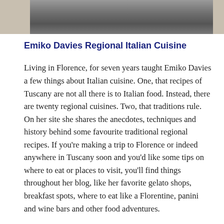[Figure (photo): Grayscale photograph of a person, partially visible, with beige/tan side borders on left and right.]
Emiko Davies Regional Italian Cuisine
Living in Florence, for seven years taught Emiko Davies a few things about Italian cuisine. One, that recipes of Tuscany are not all there is to Italian food. Instead, there are twenty regional cuisines. Two, that traditions rule. On her site she shares the anecdotes, techniques and history behind some favourite traditional regional recipes. If you're making a trip to Florence or indeed anywhere in Tuscany soon and you'd like some tips on where to eat or places to visit, you'll find things throughout her blog, like her favorite gelato shops, breakfast spots, where to eat like a Florentine, panini and wine bars and other food adventures.
Emiko has one of the most beautiful food sites of any country. Her citations and photography are of a food in…